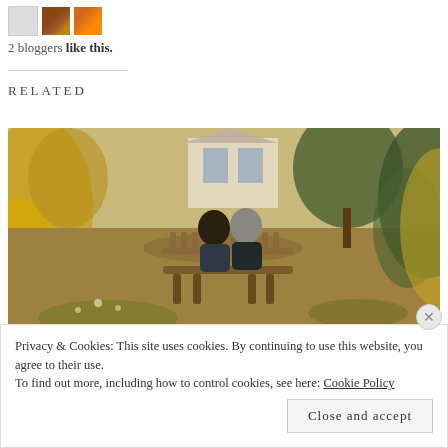[Figure (photo): Two small avatar/profile images side by side]
2 bloggers like this.
RELATED
[Figure (photo): Two elderly people sitting on a wooden bench in a garden, viewed from behind, surrounded by green and golden foliage with a house in the background]
Privacy & Cookies: This site uses cookies. By continuing to use this website, you agree to their use.
To find out more, including how to control cookies, see here: Cookie Policy
Close and accept